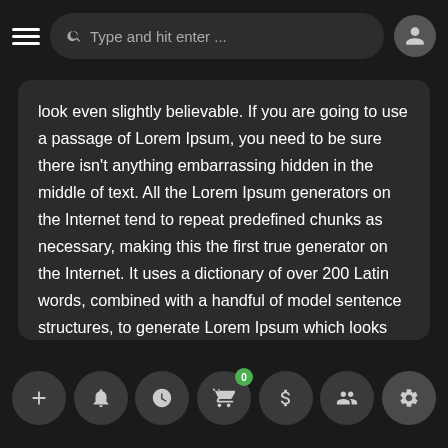Type and hit enter ...
look even slightly believable. If you are going to use a passage of Lorem Ipsum, you need to be sure there isn't anything embarrassing hidden in the middle of text. All the Lorem Ipsum generators on the Internet tend to repeat predefined chunks as necessary, making this the first true generator on the Internet. It uses a dictionary of over 200 Latin words, combined with a handful of model sentence structures, to generate Lorem Ipsum which looks reasonable. The generated Lorem Ipsum is therefore always free from repetition, injected humour, or non-characteristic words etc.
Navigation bar with icons: +, bell, clock, cart (badge: 0), dollar, people, settings